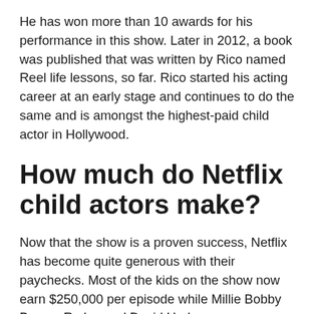He has won more than 10 awards for his performance in this show. Later in 2012, a book was published that was written by Rico named Reel life lessons, so far. Rico started his acting career at an early stage and continues to do the same and is amongst the highest-paid child actor in Hollywood.
How much do Netflix child actors make?
Now that the show is a proven success, Netflix has become quite generous with their paychecks. Most of the kids on the show now earn $250,000 per episode while Millie Bobby Brown, Ryder, and David Harbour earn $350,000 per episode of the acclaimed